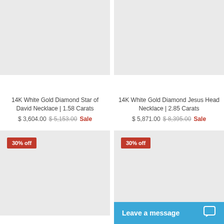[Figure (photo): Product image placeholder for 14K White Gold Diamond Star of David Necklace (gray/empty)]
14K White Gold Diamond Star of David Necklace | 1.58 Carats
$ 3,604.00  $ 5,153.00  Sale
[Figure (photo): Product image placeholder for 14K White Gold Diamond Jesus Head Necklace (gray/empty)]
14K White Gold Diamond Jesus Head Necklace | 2.85 Carats
$ 5,871.00  $ 8,395.00  Sale
[Figure (photo): Product image placeholder with 30% off badge (gray/empty)]
[Figure (photo): Product image placeholder with 30% off badge (gray/empty)]